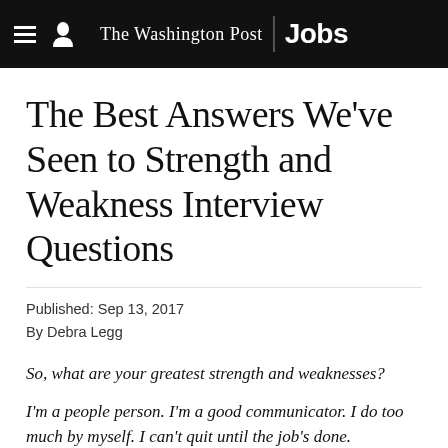The Washington Post | Jobs
The Best Answers We've Seen to Strength and Weakness Interview Questions
Published: Sep 13, 2017
By Debra Legg
So, what are your greatest strength and weaknesses?

I'm a people person. I'm a good communicator. I do too much by myself. I can't quit until the job's done.